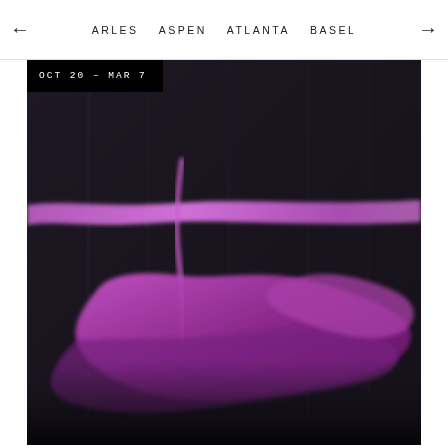← ARLES   ASPEN   ATLANTA   BASEL   →
[Figure (illustration): Abstract painting with purple/magenta brushstrokes and organic shapes on a dark grey/black background. A horizontal band of purple paint crosses the composition, with a large amorphous purple form in the lower center. A date badge reading 'OCT 20 – MAR 7' appears in the top left corner of the image.]
OCT 20 – MAR 7